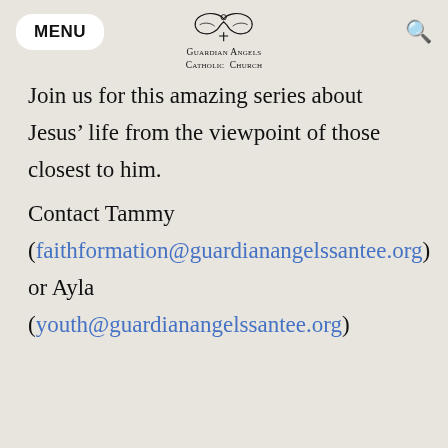MENU | Guardian Angels Catholic Church | Search
Join us for this amazing series about Jesus’ life from the viewpoint of those closest to him.
Contact Tammy (faithformation@guardianangelssantee.org) or Ayla (youth@guardianangelssantee.org)